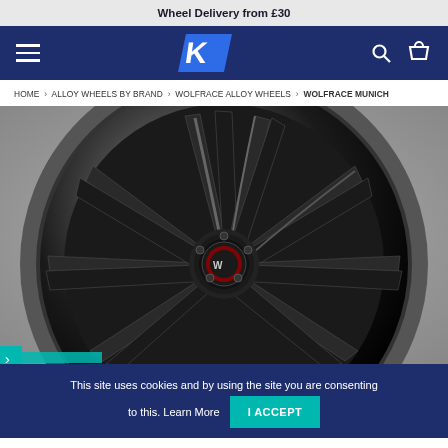Wheel Delivery from £30
[Figure (logo): Navigation bar with hamburger menu, K logo, search and cart icons on dark navy background]
HOME > ALLOY WHEELS BY BRAND > WOLFRACE ALLOY WHEELS > WOLFRACE MUNICH
[Figure (photo): Close-up product photo of a Wolfrace Munich alloy wheel in gloss black with multi-spoke design and Wolfrace center cap]
This site uses cookies and by using the site you are consenting to this. Learn More  I ACCEPT